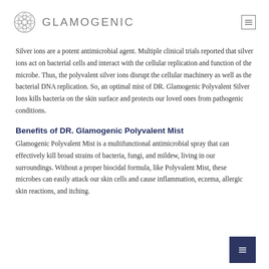GLAMOGENIC
Silver ions are a potent antimicrobial agent. Multiple clinical trials reported that silver ions act on bacterial cells and interact with the cellular replication and function of the microbe. Thus, the polyvalent silver ions disrupt the cellular machinery as well as the bacterial DNA replication. So, an optimal mist of DR. Glamogenic Polyvalent Silver Ions kills bacteria on the skin surface and protects our loved ones from pathogenic conditions.
Benefits of DR. Glamogenic Polyvalent Mist
Glamogenic Polyvalent Mist is a multifunctional antimicrobial spray that can effectively kill broad strains of bacteria, fungi, and mildew, living in our surroundings. Without a proper biocidal formula, like Polyvalent Mist, these microbes can easily attack our skin cells and cause inflammation, eczema, allergic skin reactions, and itching.